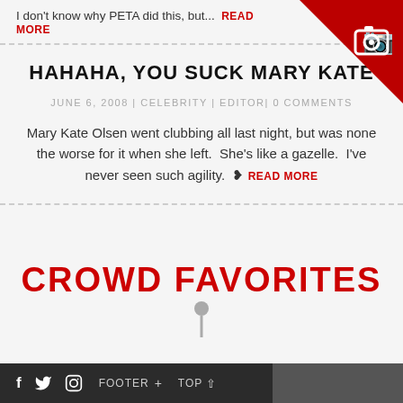I don't know why PETA did this, but...  READ MORE
[Figure (illustration): Red triangle corner badge with white camera icon in the top-right corner]
HAHAHA, YOU SUCK MARY KATE
JUNE 6, 2008 | CELEBRITY | EDITOR | 0 COMMENTS
Mary Kate Olsen went clubbing all last night, but was none the worse for it when she left.  She's like a gazelle.  I've never seen such agility.  ❧ READ MORE
CROWD FAVORITES
f  t  (instagram)  FOOTER +  TOP ^